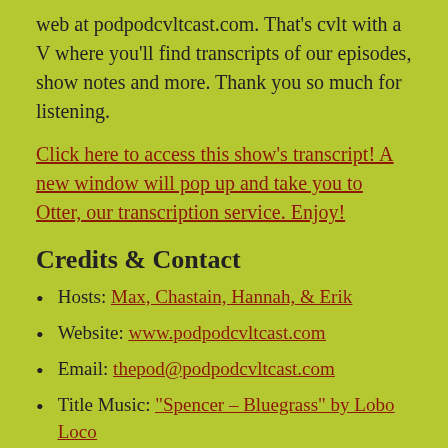web at podpodcvltcast.com. That’s cvlt with a V where you’ll find transcripts of our episodes, show notes and more. Thank you so much for listening.
Click here to access this show’s transcript! A new window will pop up and take you to Otter, our transcription service. Enjoy!
Credits & Contact
Hosts: Max, Chastain, Hannah, & Erik
Website: www.podpodcvltcast.com
Email: thepod@podpodcvltcast.com
Title Music: “Spencer – Bluegrass” by Lobo Loco
Midroll Music: “The Point Break” by Pale Blue/Coheino